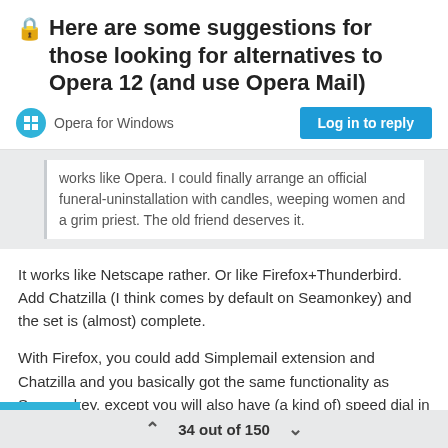🔒Here are some suggestions for those looking for alternatives to Opera 12 (and use Opera Mail)
Opera for Windows
Log in to reply
works like Opera. I could finally arrange an official funeral-uninstallation with candles, weeping women and a grim priest. The old friend deserves it.
It works like Netscape rather. Or like Firefox+Thunderbird. Add Chatzilla (I think comes by default on Seamonkey) and the set is (almost) complete.
With Firefox, you could add Simplemail extension and Chatzilla and you basically got the same functionality as Seamonkey, except you will also have (a kind of) speed dial in Firefox, which is missing in Seamonkey. And the whole thing might
34 out of 150